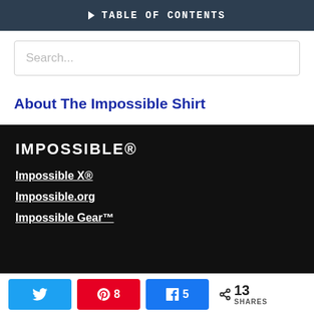TABLE OF CONTENTS
Search...
About The Impossible Shirt
IMPOSSIBLE®
Impossible X®
Impossible.org
Impossible Gear™
Twitter share, Pinterest 8, Facebook 5, < 13 SHARES